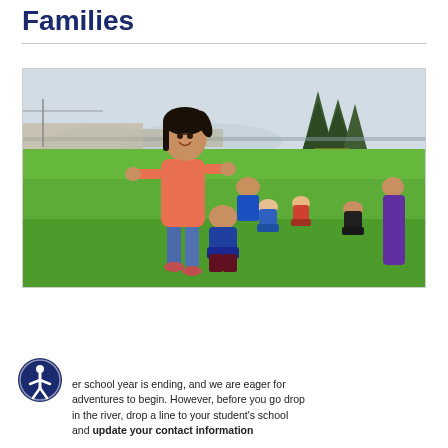Families
[Figure (photo): Children playing outdoors on a green grass field. A girl in a pink/salmon t-shirt and jeans is in the foreground, smiling and leaning forward playfully. A boy in a blue hoodie sits on the grass in front of her. In the background, several other children sit on the grass, trees are visible, and a yellow school bus can be seen in the distance.]
er school year is ending, and we are eager for adventures to begin. However, before you go drop in the river, drop a line to your student's school and update your contact information